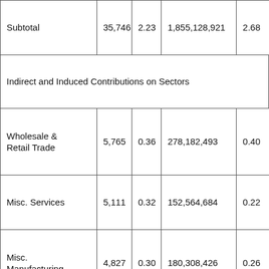| Subtotal | 35,746 | 2.23 | 1,855,128,921 | 2.68 |
| Indirect and Induced Contributions on Sectors |  |  |  |  |
| Wholesale & Retail Trade | 5,765 | 0.36 | 278,182,493 | 0.40 |
| Misc. Services | 5,111 | 0.32 | 152,564,684 | 0.22 |
| Misc. Manufacturing | 4,827 | 0.30 | 180,308,426 | 0.26 |
| Financial & Real... | 2,272 | 0.14 | 72,129,562 | 0.11 |